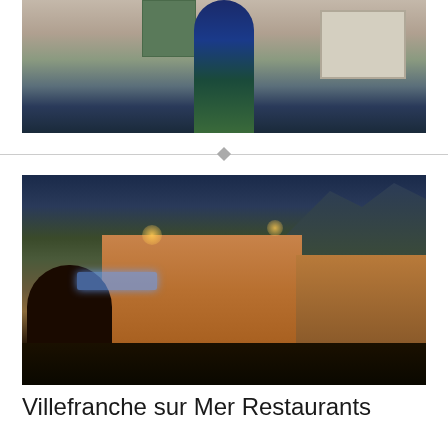[Figure (photo): Woman in blue-green maxi dress standing against a stone wall with green shutters and a white wooden door/shutter panel]
[Figure (photo): Night scene of Villefranche sur Mer restaurant row with outdoor diners, arched building facade with neon sign, colorful buildings and mountain in background]
Villefranche sur Mer Restaurants